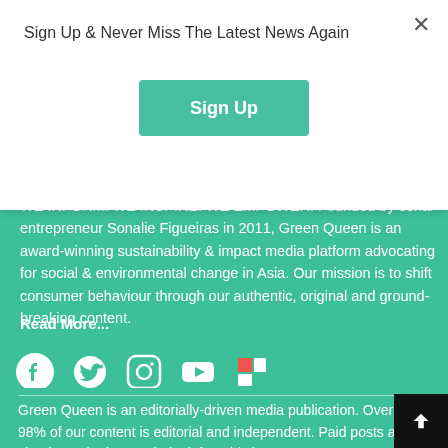Sign Up & Never Miss The Latest News Again
Sign Up
WE INFORM. WE INSPIRE. WE EMPOWER. Founded by serial entrepreneur Sonalie Figueiras in 2011, Green Queen is an award-winning sustainability & impact media platform advocating for social & environmental change in Asia. Our mission is to shift consumer behaviour through our authentic, original and ground-breaking content.
Read More...
[Figure (infographic): Social media icons row: Facebook, Twitter, Instagram, YouTube, Flipboard]
Editorial Policy
Green Queen is an editorially-driven media publication. Over 98% of our content is editorial and independent. Paid posts are clearly marked as such: look for 'This is a Green Queen Partner Post' at the bottom of the page.